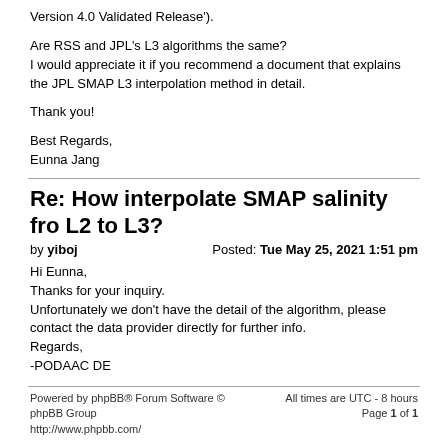Version 4.0 Validated Release').
Are RSS and JPL's L3 algorithms the same?
I would appreciate it if you recommend a document that explains the JPL SMAP L3 interpolation method in detail.
Thank you!
Best Regards,
Eunna Jang
Re: How interpolate SMAP salinity fro L2 to L3?
by yiboj  Posted: Tue May 25, 2021 1:51 pm
Hi Eunna,
Thanks for your inquiry.
Unfortunately we don't have the detail of the algorithm, please contact the data provider directly for further info.
Regards,
-PODAAC DE
Powered by phpBB® Forum Software © phpBB Group
http://www.phpbb.com/
All times are UTC - 8 hours
Page 1 of 1